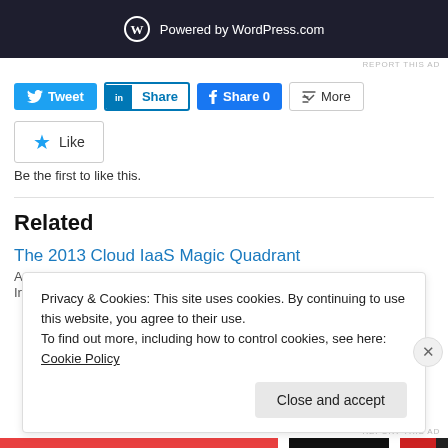[Figure (screenshot): WordPress.com powered banner — dark navy background with WordPress logo circle and text 'Powered by WordPress.com']
REPORT THIS AD
[Figure (infographic): Social sharing buttons row: Tweet (blue), Share (LinkedIn blue outlined), Share 0 (Facebook blue), More (grey outlined)]
[Figure (infographic): Like button (star icon) with text 'Be the first to like this.' below]
Be the first to like this.
Related
The 2013 Cloud IaaS Magic Quadrant
August 21, 2013
In "Infrastructure"
Privacy & Cookies: This site uses cookies. By continuing to use this website, you agree to their use.
To find out more, including how to control cookies, see here: Cookie Policy
Close and accept